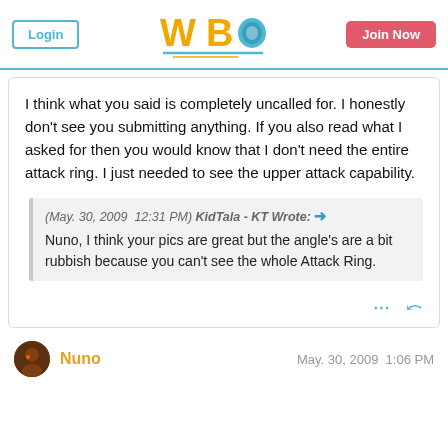Login | WBO | Join Now
I think what you said is completely uncalled for. I honestly don't see you submitting anything. If you also read what I asked for then you would know that I don't need the entire attack ring. I just needed to see the upper attack capability.
(May. 30, 2009  12:31 PM) KidTala - KT Wrote: → Nuno, I think your pics are great but the angle's are a bit rubbish because you can't see the whole Attack Ring.
Nuno   May. 30, 2009  1:06 PM